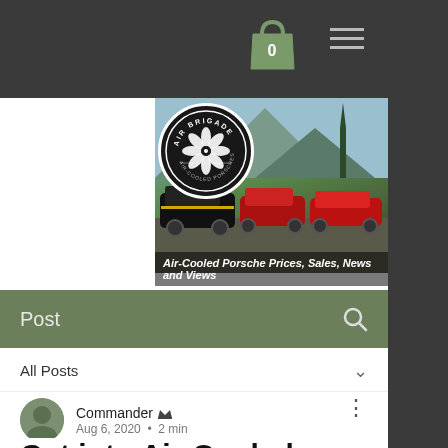[Figure (screenshot): Air Brigade website header with logo and banner image of three Porsche cars (black/yellow, red 911, red 912) in a mountain setting. Caption reads: Air-Cooled Porsche Prices, Sales, News and Views]
Post
All Posts
Commander 👑
Aug 6, 2020 · 2 min
Get into Air-Cooled Porsche with the Drive